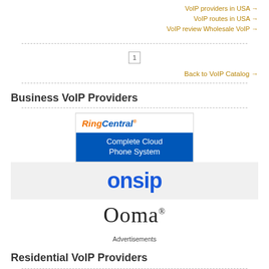VoIP providers in USA →
VoIP routes in USA →
VoIP review Wholesale VoIP →
1
Back to VoIP Catalog →
Business VoIP Providers
[Figure (logo): RingCentral logo with text 'Complete Cloud Phone System' on blue background]
[Figure (logo): OnSIP logo in blue on light gray background]
[Figure (logo): Ooma logo in dark gray serif font]
Advertisements
Residential VoIP Providers